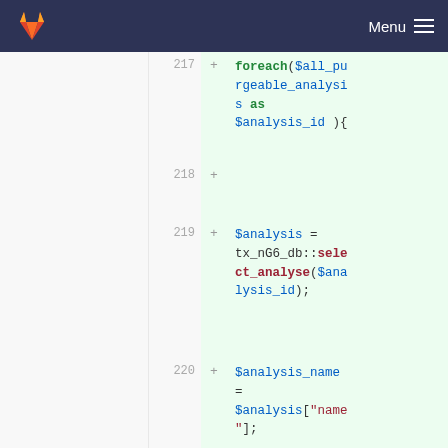GitLab Menu
[Figure (screenshot): GitLab diff view showing PHP code additions. Lines 217-220 are shown with green highlighting (added lines). Line 217 shows foreach($all_purgeable_analysis as $analysis_id ){, line 218 is blank, line 219 shows $analysis = tx_nG6_db::select_analyse($analysis_id);, line 219 is blank, line 220 shows $analysis_name = $analysis["name"];]